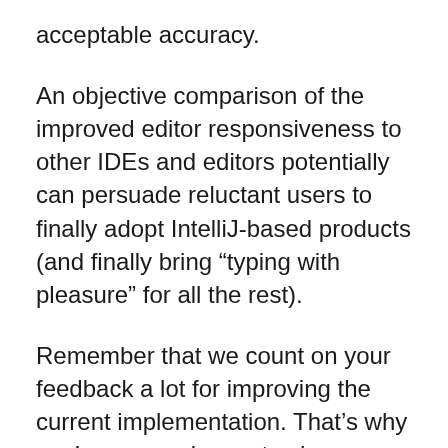acceptable accuracy.
An objective comparison of the improved editor responsiveness to other IDEs and editors potentially can persuade reluctant users to finally adopt IntelliJ-based products (and finally bring “typing with pleasure” for all the rest).
Remember that we count on your feedback a lot for improving the current implementation. That’s why you’re very welcome to share your impression and thoughts with us in our EAP discussion forum and issue tracker